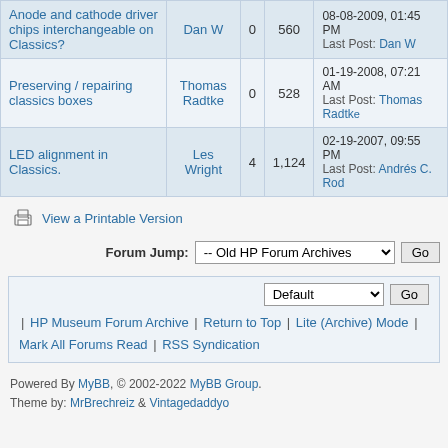| Topic | Author | Replies | Views | Last Post |
| --- | --- | --- | --- | --- |
| Anode and cathode driver chips interchangeable on Classics? | Dan W | 0 | 560 | 08-08-2009, 01:45 PM Last Post: Dan W |
| Preserving / repairing classics boxes | Thomas Radtke | 0 | 528 | 01-19-2008, 07:21 AM Last Post: Thomas Radtke |
| LED alignment in Classics. | Les Wright | 4 | 1,124 | 02-19-2007, 09:55 PM Last Post: Andrés C. Rod |
View a Printable Version
Forum Jump: -- Old HP Forum Archives  Go
Default  Go | HP Museum Forum Archive | Return to Top | Lite (Archive) Mode | Mark All Forums Read | RSS Syndication
Powered By MyBB, © 2002-2022 MyBB Group. Theme by: MrBrechreiz & Vintagedaddyo